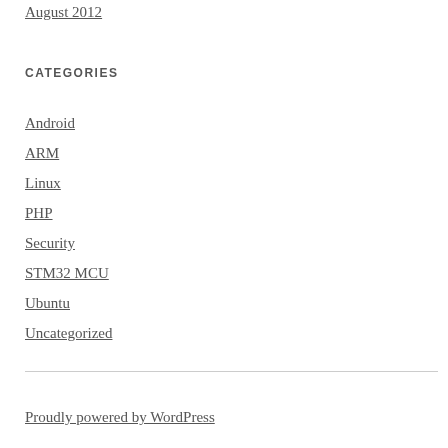August 2012
CATEGORIES
Android
ARM
Linux
PHP
Security
STM32 MCU
Ubuntu
Uncategorized
Proudly powered by WordPress